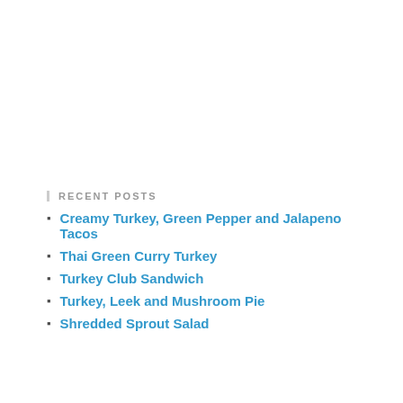RECENT POSTS
Creamy Turkey, Green Pepper and Jalapeno Tacos
Thai Green Curry Turkey
Turkey Club Sandwich
Turkey, Leek and Mushroom Pie
Shredded Sprout Salad